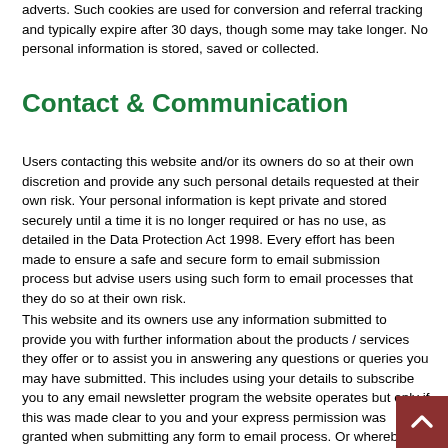adverts. Such cookies are used for conversion and referral tracking and typically expire after 30 days, though some may take longer. No personal information is stored, saved or collected.
Contact & Communication
Users contacting this website and/or its owners do so at their own discretion and provide any such personal details requested at their own risk. Your personal information is kept private and stored securely until a time it is no longer required or has no use, as detailed in the Data Protection Act 1998. Every effort has been made to ensure a safe and secure form to email submission process but advise users using such form to email processes that they do so at their own risk.
This website and its owners use any information submitted to provide you with further information about the products / services they offer or to assist you in answering any questions or queries you may have submitted. This includes using your details to subscribe you to any email newsletter program the website operates but only if this was made clear to you and your express permission was granted when submitting any form to email process. Or whereby you the consumer have previously purchased from or enquired